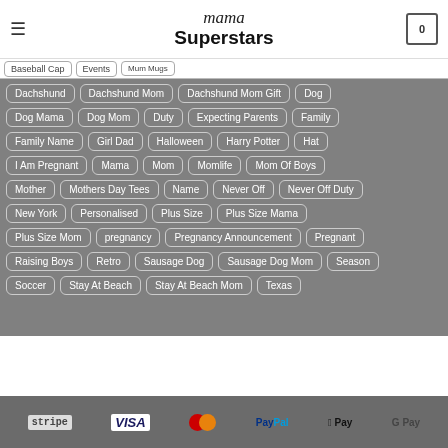mama Superstars
Baseball Cap | Events | Mum Mugs
Dachshund, Dachshund Mom, Dachshund Mom Gift, Dog
Dog Mama, Dog Mom, Duty, Expecting Parents, Family
Family Name, Girl Dad, Halloween, Harry Potter, Hat
I Am Pregnant, Mama, Mom, Momlife, Mom Of Boys
Mother, Mothers Day Tees, Name, Never Off, Never Off Duty
New York, Personalised, Plus Size, Plus Size Mama
Plus Size Mom, pregnancy, Pregnancy Announcement, Pregnant
Raising Boys, Retro, Sausage Dog, Sausage Dog Mom, Season
Soccer, Stay At Beach, Stay At Beach Mom, Texas
stripe VISA MasterCard PayPal Apple Pay G Pay